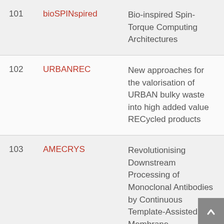| # | Name | Description |
| --- | --- | --- |
| 101 | bioSPINspired | Bio-inspired Spin-Torque Computing Architectures |
| 102 | URBANREC | New approaches for the valorisation of URBAN bulky waste into high added value RECycled products |
| 103 | AMECRYS | Revolutionising Downstream Processing of Monoclonal Antibodies by Continuous Template-Assisted Membrane Crystallization |
| 104 | cryo-bacteria-reactor | Development of the |